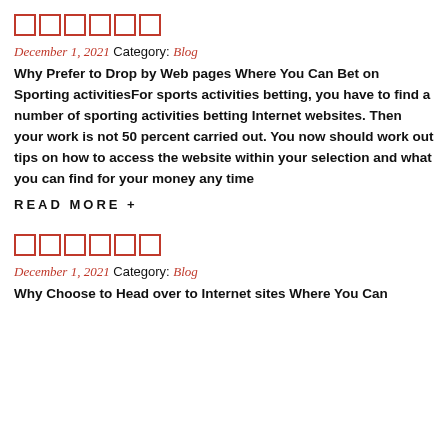□□□□□□
December 1, 2021 Category: Blog
Why Prefer to Drop by Web pages Where You Can Bet on Sporting activitiesFor sports activities betting, you have to find a number of sporting activities betting Internet websites. Then your work is not 50 percent carried out. You now should work out tips on how to access the website within your selection and what you can find for your money any time
READ MORE +
□□□□□□
December 1, 2021 Category: Blog
Why Choose to Head over to Internet sites Where You Can